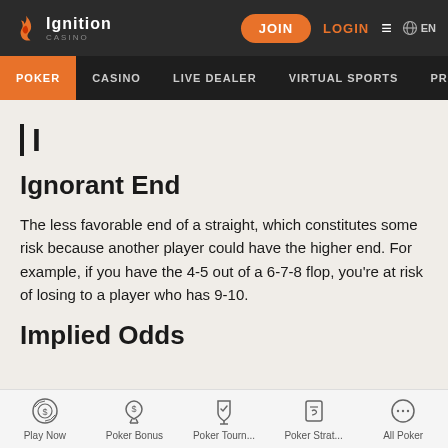Ignition Casino — JOIN | LOGIN | EN
POKER | CASINO | LIVE DEALER | VIRTUAL SPORTS | PROMOTIONS
I
Ignorant End
The less favorable end of a straight, which constitutes some risk because another player could have the higher end. For example, if you have the 4-5 out of a 6-7-8 flop, you're at risk of losing to a player who has 9-10.
Implied Odds
Play Now | Poker Bonus | Poker Tourn... | Poker Strat... | All Poker